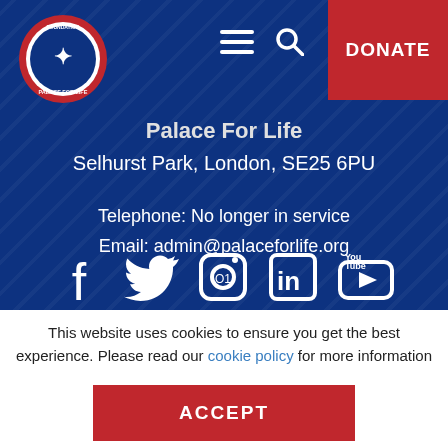[Figure (logo): Palace For Life Foundation circular logo — red border with white eagle and text]
DONATE
Palace For Life
Selhurst Park, London, SE25 6PU
Telephone: No longer in service
Email: admin@palaceforlife.org
[Figure (infographic): Social media icons: Facebook, Twitter, Instagram, LinkedIn, YouTube]
This website uses cookies to ensure you get the best experience. Please read our cookie policy for more information
ACCEPT